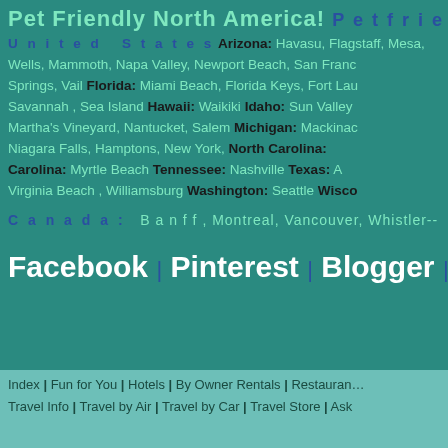Pet Friendly North America! Petfriend…
United States Arizona: Havasu, Flagstaff, Mesa… Wells, Mammoth, Napa Valley, Newport Beach, San Franc… Springs, Vail Florida: Miami Beach, Florida Keys, Fort Laud… Savannah, Sea Island Hawaii: Waikiki Idaho: Sun Valley… Martha's Vineyard, Nantucket, Salem Michigan: Mackinac… Niagara Falls, Hamptons, New York, North Carolina:… Carolina: Myrtle Beach Tennessee: Nashville Texas: A… Virginia Beach, Williamsburg Washington: Seattle Wisco…
Canada: Banff, Montreal, Vancouver, Whistler--
Facebook | Pinterest | Blogger | Youtube…
Index | Fun for You | Hotels | By Owner Rentals | Restauran… Travel Info | Travel by Air | Travel by Car | Travel Store | Ask…